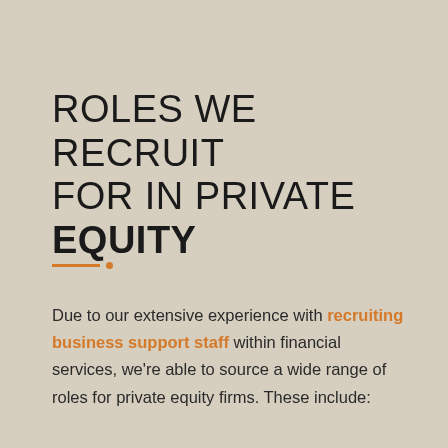ROLES WE RECRUIT FOR IN PRIVATE EQUITY
Due to our extensive experience with recruiting business support staff within financial services, we're able to source a wide range of roles for private equity firms. These include: